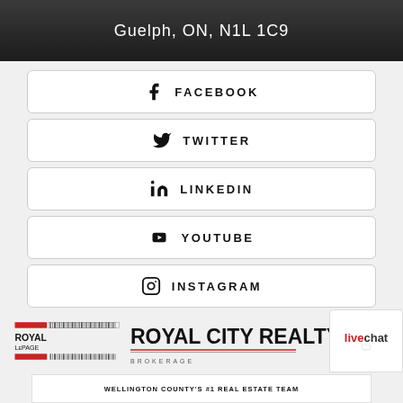[Figure (photo): Dark image with text overlay showing 'Guelph, ON, N1L 1C9']
FACEBOOK
TWITTER
LINKEDIN
YOUTUBE
INSTAGRAM
[Figure (logo): Royal LePage logo]
[Figure (logo): Royal City Realty Brokerage logo]
[Figure (logo): LiveChat badge]
WELLINGTON COUNTY'S #1 REAL ESTATE TEAM